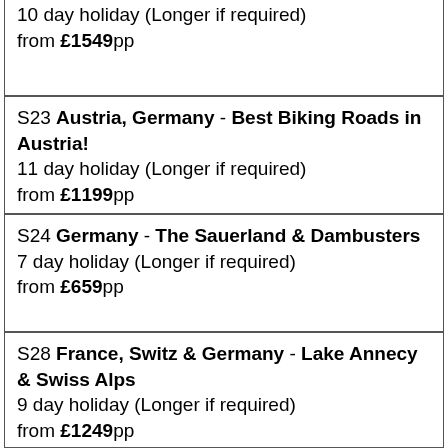10 day holiday (Longer if required)
from £1549pp
S23 Austria, Germany - Best Biking Roads in Austria!
11 day holiday (Longer if required)
from £1199pp
S24 Germany - The Sauerland & Dambusters
7 day holiday (Longer if required)
from £659pp
S28 France, Switz & Germany - Lake Annecy & Swiss Alps
9 day holiday (Longer if required)
from £1249pp